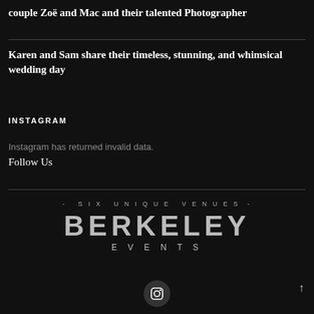couple Zoë and Mac and their talented Photographer
Karen and Sam share their timeless, stunning, and whimsical wedding day
INSTAGRAM
Instagram has returned invalid data.
Follow Us
[Figure (logo): Berkeley Events logo: '- SIX UNIQUE VENUES -' above large BERKELEY text, with EVENTS below in spaced capitals]
[Figure (other): Instagram icon in a dark circle]